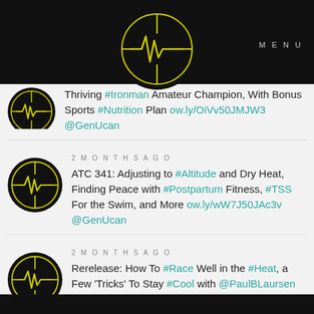MENU
[Figure (logo): Circular black logo with yellow heartbeat/pulse waveform and crosshair design]
Thriving #Ironman Amateur Champion, With Bonus Sports #Nutrition Plan ow.ly/OiVv50JMJW3 @GenUcan
2 MONTHS AGO
[Figure (logo): Circular black logo with yellow heartbeat/pulse waveform and crosshair design]
ATC 341: Adjusting to #Altitude and Dry Heat, Finding Peace with #Postpartum Fitness, #TSS For the Swim, and More ow.ly/wW7J50JAc3v @GenUcan
2 MONTHS AGO
[Figure (logo): Circular black logo with yellow heartbeat/pulse waveform and crosshair design]
Rerelease: How To #Race Well in the #Heat, a Few 'Tricks' To Stay #Cool with @PaulBLaursen ow.ly/PqTW50JpcAr @GenUcan